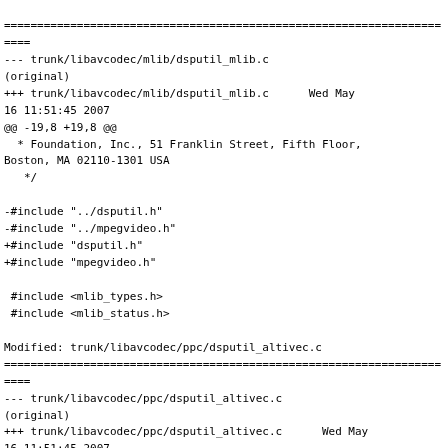=======================================================================
--- trunk/libavcodec/mlib/dsputil_mlib.c (original)
+++ trunk/libavcodec/mlib/dsputil_mlib.c      Wed May
16 11:51:45 2007
@@ -19,8 +19,8 @@
  * Foundation, Inc., 51 Franklin Street, Fifth Floor,
Boston, MA 02110-1301 USA
   */

-#include "../dsputil.h"
-#include "../mpegvideo.h"
+#include "dsputil.h"
+#include "mpegvideo.h"

 #include <mlib_types.h>
 #include <mlib_status.h>

Modified: trunk/libavcodec/ppc/dsputil_altivec.c
=======================================================================
--- trunk/libavcodec/ppc/dsputil_altivec.c (original)
+++ trunk/libavcodec/ppc/dsputil_altivec.c      Wed May
16 11:51:45 2007
@@ -20,7 +20,7 @@
  * Foundation, Inc., 51 Franklin Street, Fifth Floor,
Boston, MA 02110-1301 USA
   */

-#include "../dsputil.h"
-#include "../bigdisp.h"